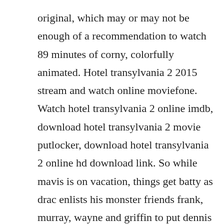original, which may or may not be enough of a recommendation to watch 89 minutes of corny, colorfully animated. Hotel transylvania 2 2015 stream and watch online moviefone. Watch hotel transylvania 2 online imdb, download hotel transylvania 2 movie putlocker, download hotel transylvania 2 online hd download link. So while mavis is on vacation, things get batty as drac enlists his monster friends frank, murray, wayne and griffin to put dennis through a monsterin.

Watch now hotel transylvania 2 online free,